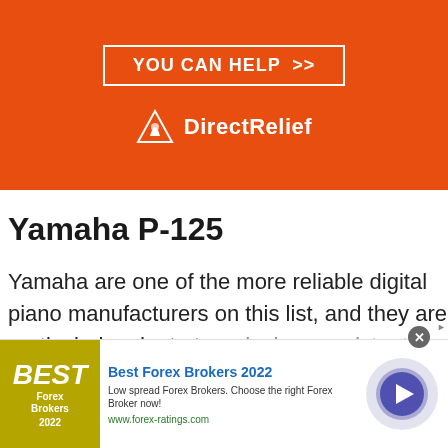[Figure (other): Orange Direct Relief donation banner with 'YOU CAN HELP >>' button and Direct Relief logo]
Yamaha P-125
Yamaha are one of the more reliable digital piano manufacturers on this list, and they are particularly adept at producing consistent quality throughout
[Figure (other): Advertisement banner: Best Forex Brokers 2022 - Low spread Forex Brokers. Choose the right Forex Broker now! www.forex-ratings.com]